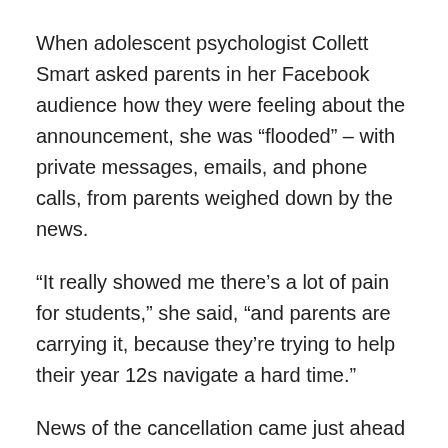When adolescent psychologist Collett Smart asked parents in her Facebook audience how they were feeling about the announcement, she was “flooded” – with private messages, emails, and phone calls, from parents weighed down by the news.
“It really showed me there’s a lot of pain for students,” she said, “and parents are carrying it, because they’re trying to help their year 12s navigate a hard time.”
News of the cancellation came just ahead of the World Health Organisation’s warning that young people, in Australia and many other nations, are now the main spreaders of the coronavirus.